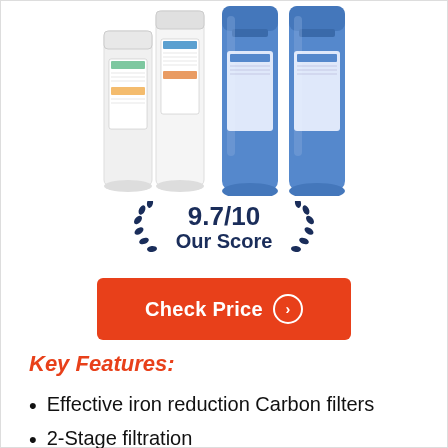[Figure (photo): Water filter cartridges — white cylindrical sediment/carbon filters on the left, two blue whole-house filter housings on the right, shown against a white background]
9.7/10
Our Score
Check Price
Key Features:
Effective iron reduction Carbon filters
2-Stage filtration
70K gallon per cartridge